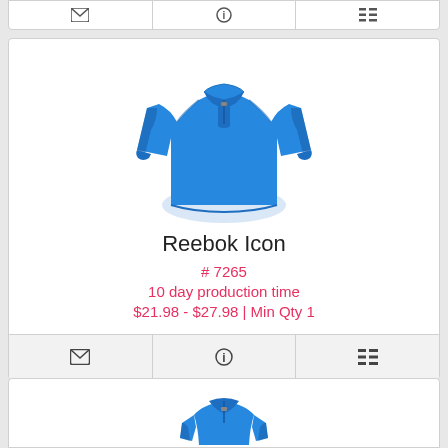[Figure (screenshot): Top toolbar strip of a product card with envelope, info, and list icons]
[Figure (photo): Blue Reebok Icon quarter-zip pullover on white background]
Reebok Icon
# 7265
10 day production time
$21.98 - $27.98 | Min Qty 1
[Figure (screenshot): Bottom toolbar of card with envelope, info, and list icons]
[Figure (photo): Partial view of second blue Reebok pullover product card at bottom of page]